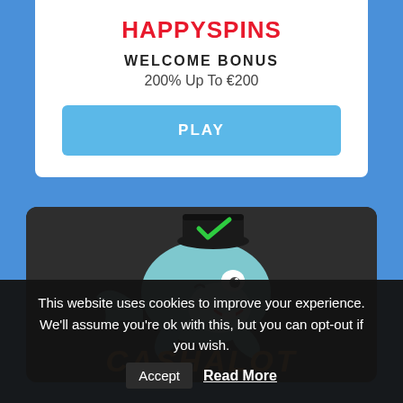HAPPYSPINS
WELCOME BONUS
200% Up To €200
PLAY
[Figure (illustration): Cashalot casino logo with cartoon whale character wearing a black hat with green checkmark, set on dark background, with orange text CASHALOT below]
This website uses cookies to improve your experience. We'll assume you're ok with this, but you can opt-out if you wish.
Accept
Read More